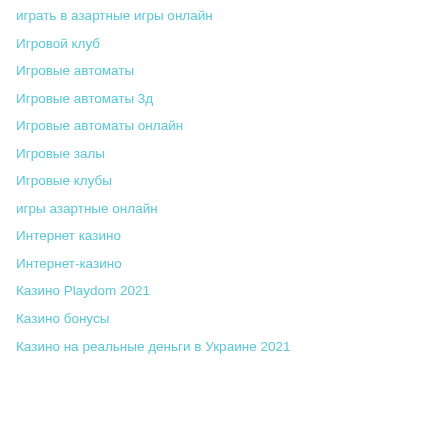играть в азартные игры онлайн
Игровой клуб
Игровые автоматы
Игровые автоматы 3д
Игровые автоматы онлайн
Игровые залы
Игровые клубы
игры азартные онлайн
Интернет казино
Интернет-казино
Казино Playdom 2021
Казино бонусы
Казино на реальные деньги в Украине 2021